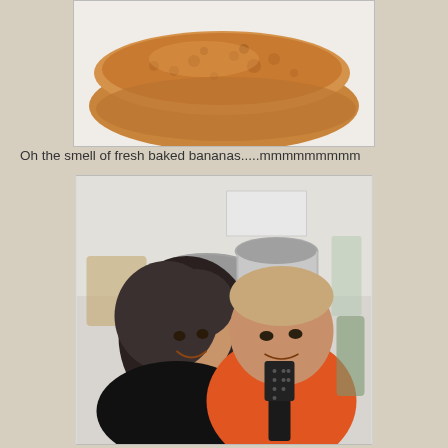[Figure (photo): Close-up photo of golden-brown banana pancakes on a white surface, viewed from above]
Oh the smell of fresh baked bananas.....mmmmmmmmm
[Figure (photo): Two people smiling in a kitchen — a woman with curly dark hair in a black top and a man in an orange t-shirt holding a black spatula, with stainless steel pots visible in the background]